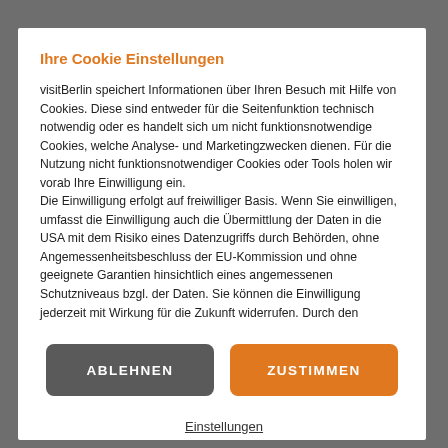Ihre Cookie Einstellungen
visitBerlin speichert Informationen über Ihren Besuch mit Hilfe von Cookies. Diese sind entweder für die Seitenfunktion technisch notwendig oder es handelt sich um nicht funktionsnotwendige Cookies, welche Analyse- und Marketingzwecken dienen. Für die Nutzung nicht funktionsnotwendiger Cookies oder Tools holen wir vorab Ihre Einwilligung ein. Die Einwilligung erfolgt auf freiwilliger Basis. Wenn Sie einwilligen, umfasst die Einwilligung auch die Übermittlung der Daten in die USA mit dem Risiko eines Datenzugriffs durch Behörden, ohne Angemessenheitsbeschluss der EU-Kommission und ohne geeignete Garantien hinsichtlich eines angemessenen Schutzniveaus bzgl. der Daten. Sie können die Einwilligung jederzeit mit Wirkung für die Zukunft widerrufen. Durch den ...
ABLEHNEN
ZUSTIMMEN
Einstellungen